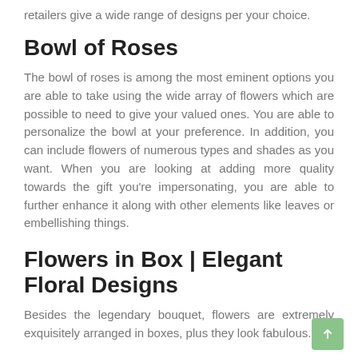retailers give a wide range of designs per your choice.
Bowl of Roses
The bowl of roses is among the most eminent options you are able to take using the wide array of flowers which are possible to need to give your valued ones. You are able to personalize the bowl at your preference. In addition, you can include flowers of numerous types and shades as you want. When you are looking at adding more quality towards the gift you're impersonating, you are able to further enhance it along with other elements like leaves or embellishing things.
Flowers in Box | Elegant Floral Designs
Besides the legendary bouquet, flowers are extremely exquisitely arranged in boxes, plus they look fabulous.